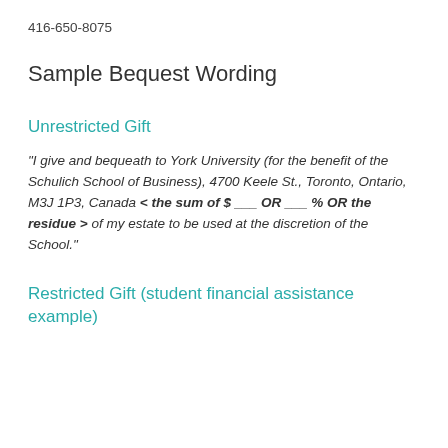416-650-8075
Sample Bequest Wording
Unrestricted Gift
“I give and bequeath to York University (for the benefit of the Schulich School of Business), 4700 Keele St., Toronto, Ontario, M3J 1P3, Canada < the sum of $ ___ OR ___ % OR the residue > of my estate to be used at the discretion of the School.”
Restricted Gift (student financial assistance example)